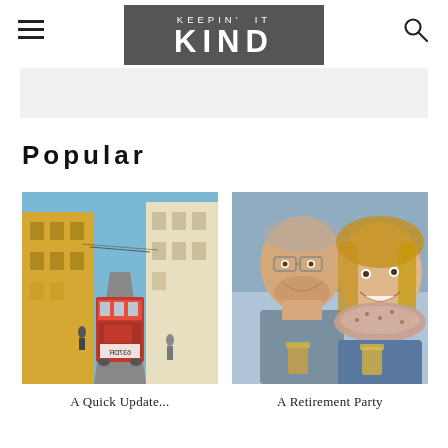KEEPIN' IT KIND
[Figure (screenshot): Light gray banner strip, placeholder ad area]
Popular
[Figure (photo): Street photo of a red tram in a narrow European city street flanked by yellow and white buildings]
A Quick Update...
[Figure (photo): Selfie photo of a smiling man and woman holding drinks, woman wearing a patterned scarf]
A Retirement Party